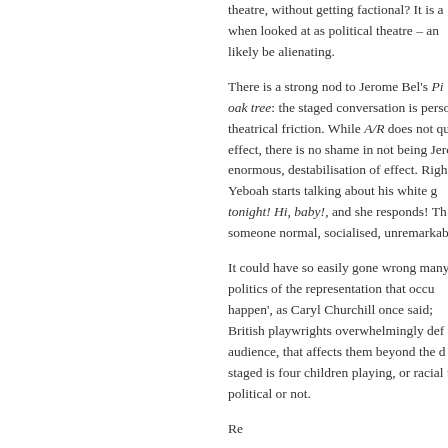theatre, without getting factional? It is a when looked at as political theatre – an likely be alienating.
There is a strong nod to Jerome Bel's Pi oak tree: the staged conversation is perso theatrical friction. While A/R does not qu effect, there is no shame in not being Jerc enormous, destabilisation of effect. Right Yeboah starts talking about his white g tonight! Hi, baby!, and she responds! Th someone normal, socialised, unremarkabl
It could have so easily gone wrong many politics of the representation that occu happen', as Caryl Churchill once said; British playwrights overwhelmingly def audience, that affects them beyond the d staged is four children playing, or racial t political or not.
Re